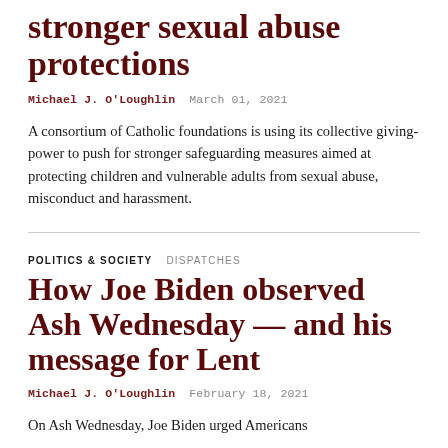stronger sexual abuse protections
Michael J. O'Loughlin   March 01, 2021
A consortium of Catholic foundations is using its collective giving-power to push for stronger safeguarding measures aimed at protecting children and vulnerable adults from sexual abuse, misconduct and harassment.
POLITICS & SOCIETY   DISPATCHES
How Joe Biden observed Ash Wednesday — and his message for Lent
Michael J. O'Loughlin   February 18, 2021
On Ash Wednesday, Joe Biden urged Americans